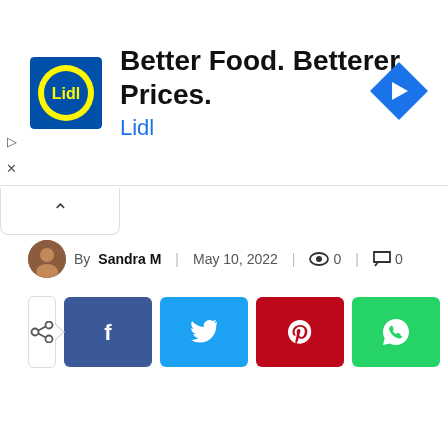[Figure (infographic): Lidl advertisement banner with Lidl logo, text 'Better Food. Betterer Prices.' and 'Lidl', with a blue diamond direction arrow icon on the right. Ad controls (play and close icons) on the left edge.]
[Figure (other): Collapse/chevron up button tab below the ad banner]
By Sandra M | May 10, 2022 | 0 | 0
[Figure (infographic): Social share buttons row: share toggle icon, Facebook (blue), Twitter (light blue), Pinterest (red), WhatsApp (green)]